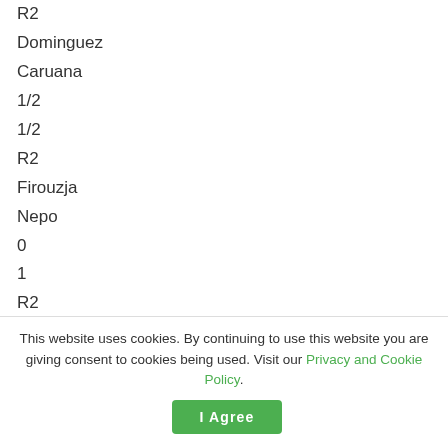R2
Dominguez
Caruana
1/2
1/2
R2
Firouzja
Nepo
0
1
R2
Deac
Aronian
1/2
This website uses cookies. By continuing to use this website you are giving consent to cookies being used. Visit our Privacy and Cookie Policy.